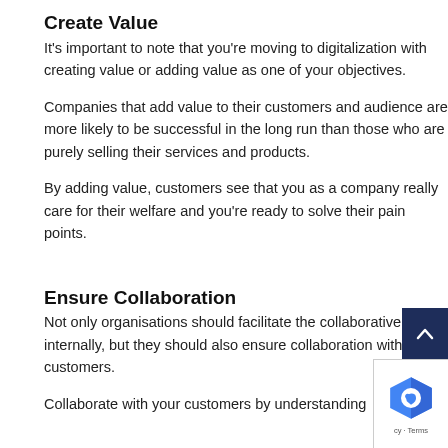Create Value
It’s important to note that you’re moving to digitalization with creating value or adding value as one of your objectives.
Companies that add value to their customers and audience are more likely to be successful in the long run than those who are purely selling their services and products.
By adding value, customers see that you as a company really care for their welfare and you’re ready to solve their pain points.
Ensure Collaboration
Not only organisations should facilitate the collaborative culture internally, but they should also ensure collaboration with their customers.
Collaborate with your customers by understanding